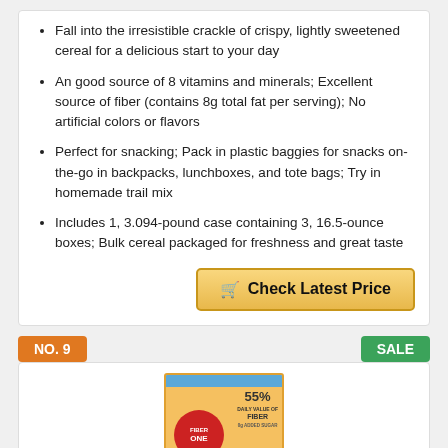Fall into the irresistible crackle of crispy, lightly sweetened cereal for a delicious start to your day
An good source of 8 vitamins and minerals; Excellent source of fiber (contains 8g total fat per serving); No artificial colors or flavors
Perfect for snacking; Pack in plastic baggies for snacks on-the-go in backpacks, lunchboxes, and tote bags; Try in homemade trail mix
Includes 1, 3.094-pound case containing 3, 16.5-ounce boxes; Bulk cereal packaged for freshness and great taste
Check Latest Price
NO. 9
SALE
[Figure (photo): Fiber One cereal box with orange packaging showing 55% daily value of fiber label]